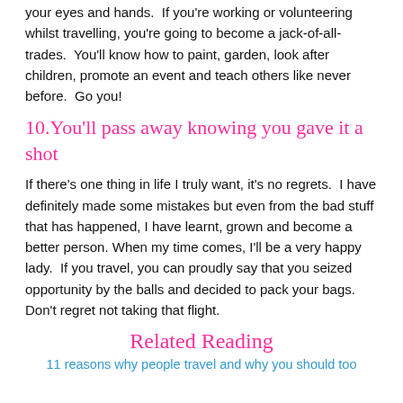your eyes and hands.  If you're working or volunteering whilst travelling, you're going to become a jack-of-all-trades.  You'll know how to paint, garden, look after children, promote an event and teach others like never before.  Go you!
10. You'll pass away knowing you gave it a shot
If there's one thing in life I truly want, it's no regrets.  I have definitely made some mistakes but even from the bad stuff that has happened, I have learnt, grown and become a better person. When my time comes, I'll be a very happy lady.  If you travel, you can proudly say that you seized opportunity by the balls and decided to pack your bags.  Don't regret not taking that flight.
Related Reading
11 reasons why people travel and why you should too